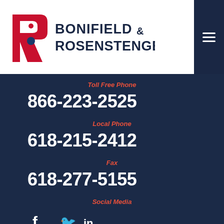[Figure (logo): Bonifield & Rosenstengel law firm logo with stylized B/R letters in red, and text BONIFIELD & ROSENSTENGEL in dark blue]
Toll Free Phone
866-223-2525
Local Phone
618-215-2412
Fax
618-277-5155
Social Media
[Figure (illustration): Social media icons: Facebook, Twitter, LinkedIn]